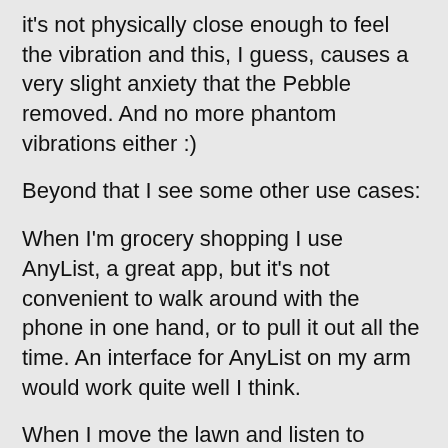it's not physically close enough to feel the vibration and this, I guess, causes a very slight anxiety that the Pebble removed. And no more phantom vibrations either :)
Beyond that I see some other use cases:
When I'm grocery shopping I use AnyList, a great app, but it's not convenient to walk around with the phone in one hand, or to pull it out all the time. An interface for AnyList on my arm would work quite well I think.
When I move the lawn and listen to music I sometimes need to interact with Spotify (or whatever I'm listening to) beyond the clicker on the cord. And my favorite headphones does not even have a clicker. Here too an interface on my arm would help, I think.
The reactions to Apple Watch reminds me of iPad, there were a lot of "Why on earth would I need an iPad?" from people who later praised it. But that being said, this first generation Apple Watch is bulky and almost ugly. I agree with the comment about this being "version 0.5". It is going to look very dated two years from today. But I think